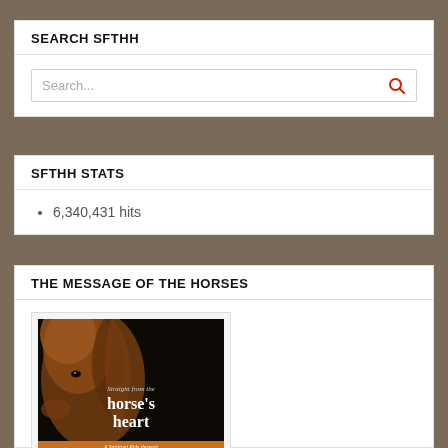SEARCH SFTHH
Search...
SFTHH STATS
6,340,431 hits
THE MESSAGE OF THE HORSES
[Figure (photo): Book cover for 'Straight from the horse's heart — A Spiritual Ride through Love, Loss and Hope' showing a close-up of a horse's head on a dark background with orange banner at bottom]